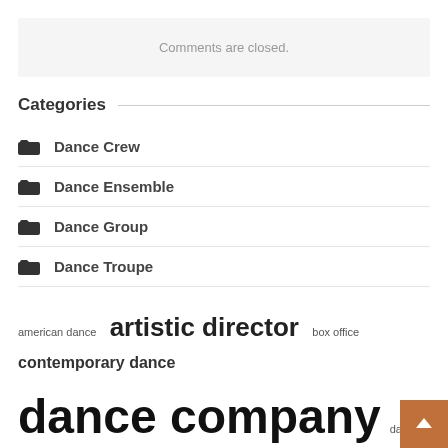Comments are closed.
Categories
Dance Crew
Dance Ensemble
Dance Group
Dance Troupe
american dance  artistic director  box office  contemporary dance  dance company  dance crew  dance ensemble  dance group  dance performance  dance team